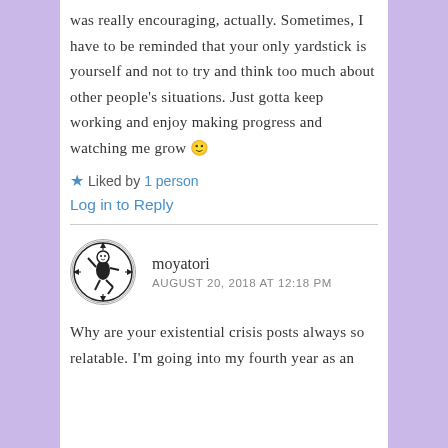was really encouraging, actually. Sometimes, I have to be reminded that your only yardstick is yourself and not to try and think too much about other people's situations. Just gotta keep working and enjoy making progress and watching me grow 🙂
★ Liked by 1 person
Log in to Reply
moyatori
AUGUST 20, 2018 AT 12:18 PM
[Figure (illustration): Circular avatar image with a black and white illustration of a figure in a dynamic pose, enclosed in a circle with decorative arrow elements]
Why are your existential crisis posts always so relatable. I'm going into my fourth year as an